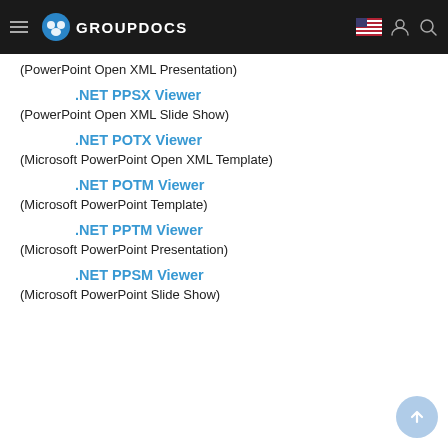GROUPDOCS
(PowerPoint Open XML Presentation)
.NET PPSX Viewer
(PowerPoint Open XML Slide Show)
.NET POTX Viewer
(Microsoft PowerPoint Open XML Template)
.NET POTM Viewer
(Microsoft PowerPoint Template)
.NET PPTM Viewer
(Microsoft PowerPoint Presentation)
.NET PPSM Viewer
(Microsoft PowerPoint Slide Show)